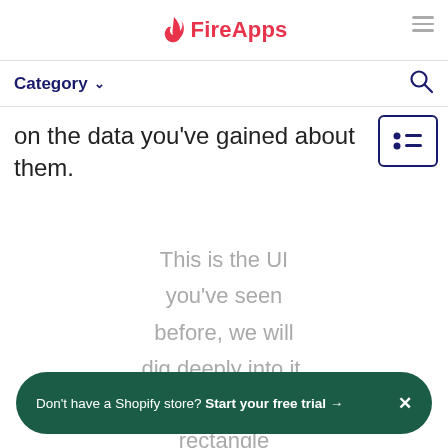FireApps
Category
on the data you've gained about them.
This is the UI you've seen before, we will dig deeply into it. The blue rectangle
Don't have a Shopify store? Start your free trial →